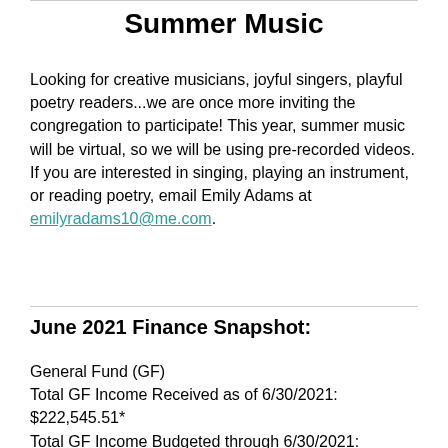Summer Music
Looking for creative musicians, joyful singers, playful poetry readers...we are once more inviting the congregation to participate! This year, summer music will be virtual, so we will be using pre-recorded videos. If you are interested in singing, playing an instrument, or reading poetry, email Emily Adams at emilyradams10@me.com.
June 2021 Finance Snapshot:
General Fund (GF)
Total GF Income Received as of 6/30/2021: $222,545.51*
Total GF Income Budgeted through 6/30/2021: